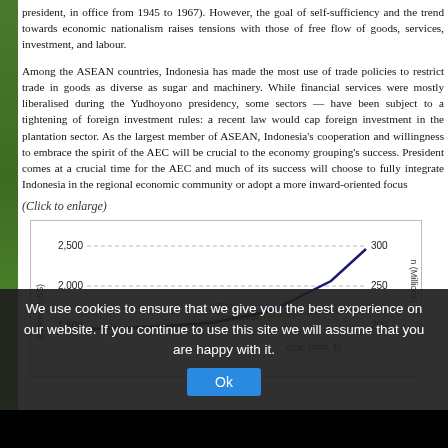president, in office from 1945 to 1967). However, the goal of self-sufficiency and the trend towards economic nationalism raises tensions with those of free flow of goods, services, investment, and labour.
Among the ASEAN countries, Indonesia has made the most use of trade policies to restrict trade in goods as diverse as sugar and machinery. While financial services were mostly liberalised during the Yudhoyono presidency, some sectors — such as agriculture and mineral resources — have been subject to a tightening of foreign investment rules: a recent law would cap foreign investment in the plantation sector at just 30 per cent. As the largest member of ASEAN, Indonesia's cooperation and willingness to embrace the spirit of the AEC will be crucial to the economy grouping's success. The arrival of a new President comes at a crucial time for the AEC and much of its success will depend on whether it will choose to fully integrate Indonesia in the regional economic community or whether to adopt a more inward-oriented focus
(Click to enlarge)
[Figure (line-chart): Indonesia GDP and Population]
We use cookies to ensure that we give you the best experience on our website. If you continue to use this site we will assume that you are happy with it.